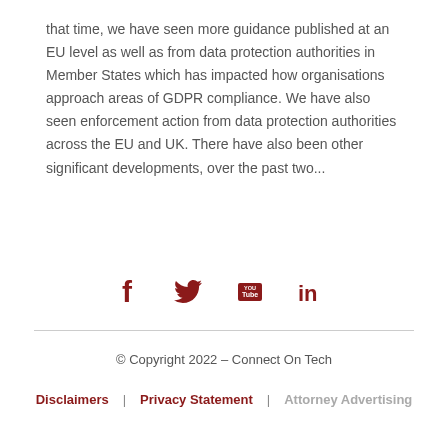that time, we have seen more guidance published at an EU level as well as from data protection authorities in Member States which has impacted how organisations approach areas of GDPR compliance. We have also seen enforcement action from data protection authorities across the EU and UK. There have also been other significant developments, over the past two...
[Figure (other): Social media icons: Facebook (f), Twitter (bird), YouTube (YOU Tube box), LinkedIn (in)]
© Copyright 2022 – Connect On Tech | Disclaimers | Privacy Statement | Attorney Advertising